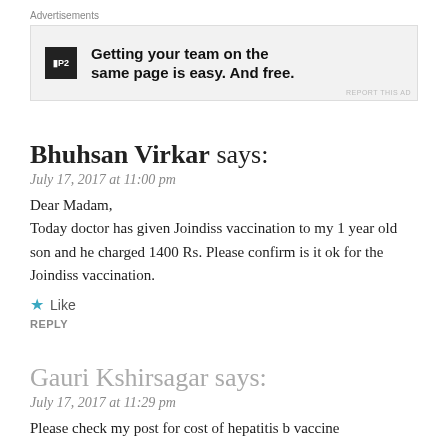Advertisements
[Figure (other): Advertisement banner for P2 service with logo and text: Getting your team on the same page is easy. And free.]
Bhuhsan Virkar says:
July 17, 2017 at 11:00 pm
Dear Madam,
Today doctor has given Joindiss vaccination to my 1 year old son and he charged 1400 Rs. Please confirm is it ok for the Joindiss vaccination.
Like
REPLY
Gauri Kshirsagar says:
July 17, 2017 at 11:29 pm
Please check my post for cost of hepatitis b vaccine